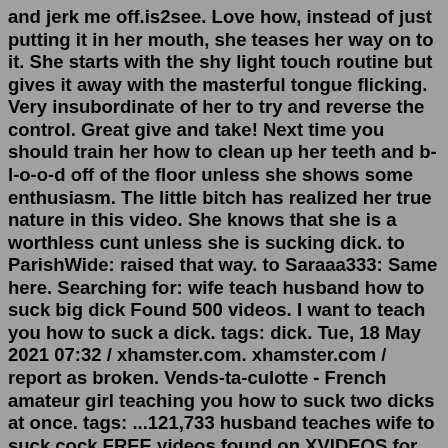and jerk me off.is2see. Love how, instead of just putting it in her mouth, she teases her way on to it. She starts with the shy light touch routine but gives it away with the masterful tongue flicking. Very insubordinate of her to try and reverse the control. Great give and take! Next time you should train her how to clean up her teeth and b-l-o-o-d off of the floor unless she shows some enthusiasm. The little bitch has realized her true nature in this video. She knows that she is a worthless cunt unless she is sucking dick. to ParishWide: raised that way. to Saraaa333: Same here. Searching for: wife teach husband how to suck big dick Found 500 videos. I want to teach you how to suck a dick. tags: dick. Tue, 18 May 2021 07:32 / xhamster.com. xhamster.com / report as broken. Vends-ta-culotte - French amateur girl teaching you how to suck two dicks at once. tags: ...121,733 husband teaches wife to suck cock FREE videos found on XVIDEOS for this search. ... Cuckold Wife Sucks and Fucks Big Black Cock while Husband Films... Desi Loves her will she post this, dont she will